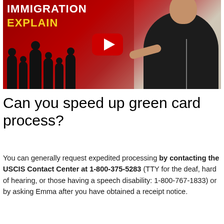[Figure (screenshot): YouTube video thumbnail for 'Immigration Explained' channel showing a man in a black jacket pointing, with silhouettes of people on a red background, and a YouTube play button in the center. Text reads 'IMMIGRATION EXPLAIN' in white and yellow.]
Can you speed up green card process?
You can generally request expedited processing by contacting the USCIS Contact Center at 1-800-375-5283 (TTY for the deaf, hard of hearing, or those having a speech disability: 1-800-767-1833) or by asking Emma after you have obtained a receipt notice.